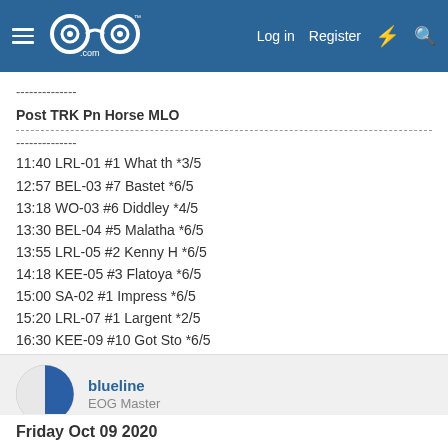EOG (GoG) forum header with Log in, Register navigation
--------------
Post TRK Pn Horse MLO
--------------
11:40 LRL-01 #1 What th *3/5
12:57 BEL-03 #7 Bastet *6/5
13:18 WO-03 #6 Diddley *4/5
13:30 BEL-04 #5 Malatha *6/5
13:55 LRL-05 #2 Kenny H *6/5
14:18 KEE-05 #3 Flatoya *6/5
15:00 SA-02 #1 Impress *6/5
15:20 LRL-07 #1 Largent *2/5
16:30 KEE-09 #10 Got Sto *6/5
21:02 CT-07 #10 Epic We *6/5
blueline
EOG Master
Oct 9, 2020  #4,679
Friday Oct 09 2020